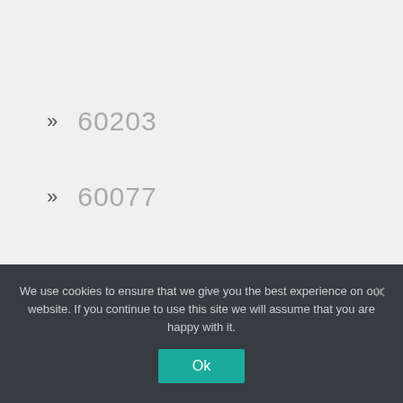» 60203
» 60077
» 60091
» 60626
We use cookies to ensure that we give you the best experience on our website. If you continue to use this site we will assume that you are happy with it.